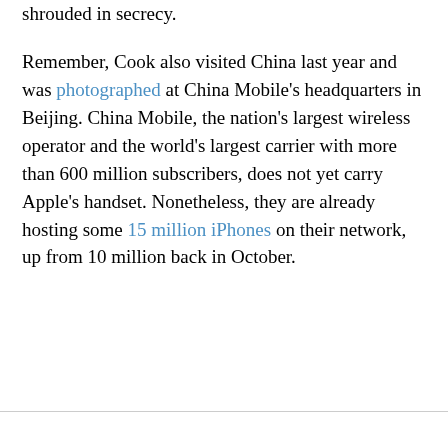shrouded in secrecy.
Remember, Cook also visited China last year and was photographed at China Mobile's headquarters in Beijing. China Mobile, the nation's largest wireless operator and the world's largest carrier with more than 600 million subscribers, does not yet carry Apple's handset. Nonetheless, they are already hosting some 15 million iPhones on their network, up from 10 million back in October.